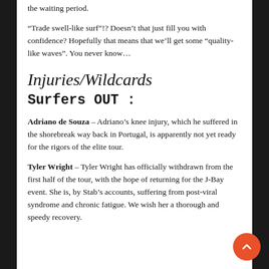the waiting period.
“Trade swell-like surf”!? Doesn’t that just fill you with confidence? Hopefully that means that we’ll get some “quality-like waves”. You never know…
Injuries/Wildcards
Surfers OUT :
Adriano de Souza – Adriano’s knee injury, which he suffered in the shorebreak way back in Portugal, is apparently not yet ready for the rigors of the elite tour.
Tyler Wright – Tyler Wright has officially withdrawn from the first half of the tour, with the hope of returning for the J-Bay event. She is, by Stab’s accounts, suffering from post-viral syndrome and chronic fatigue. We wish her a thorough and speedy recovery.